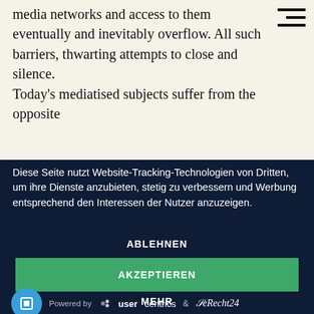media networks and access to them eventually and inevitably overflow. All such barriers, thwarting attempts to close and silence.
Today's mediatised subjects suffer from the opposite
Diese Seite nutzt Website-Tracking-Technologien von Dritten, um ihre Dienste anzubieten, stetig zu verbessern und Werbung entsprechend den Interessen der Nutzer anzuzeigen.
ABLEHNEN
AKZEPTIEREN
MEHR
Powered by usercentrics & eRecht24